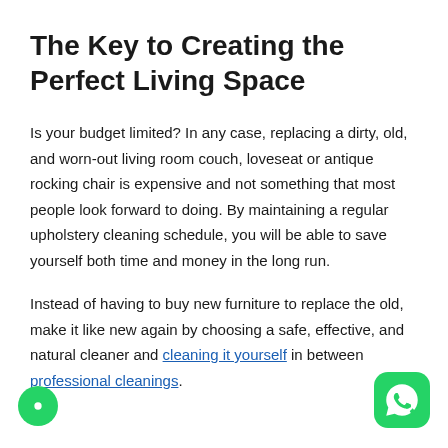The Key to Creating the Perfect Living Space
Is your budget limited? In any case, replacing a dirty, old, and worn-out living room couch, loveseat or antique rocking chair is expensive and not something that most people look forward to doing. By maintaining a regular upholstery cleaning schedule, you will be able to save yourself both time and money in the long run.
Instead of having to buy new furniture to replace the old, make it like new again by choosing a safe, effective, and natural cleaner and cleaning it yourself in between professional cleanings.